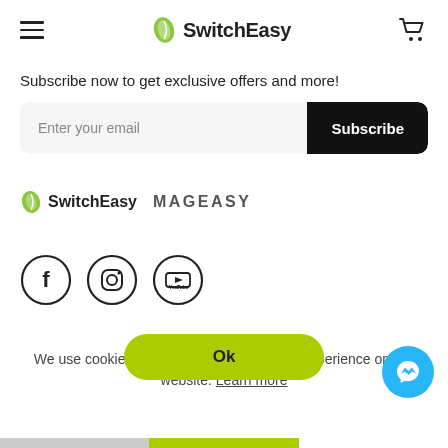SwitchEasy
Subscribe now to get exclusive offers and more!
Enter your email  Subscribe
[Figure (logo): SwitchEasy and MAGEASY brand logos side by side]
[Figure (illustration): Social media icons: Facebook, Instagram, YouTube (circular outline style)]
We use cookies to ensure you get the best experience on our website. Learn more
Ok